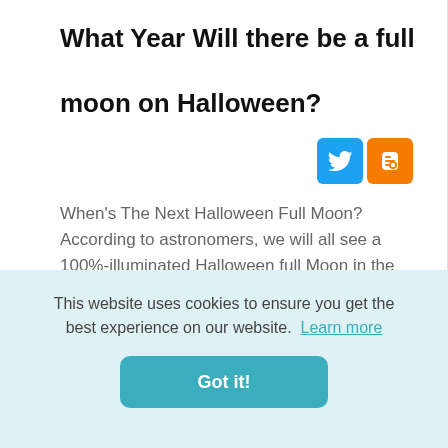What Year Will there be a full moon on Halloween?
[Figure (other): Twitter and Blogger social share icon buttons]
When's The Next Halloween Full Moon? According to astronomers, we will all see a 100%-illuminated Halloween full Moon in the years 2020, 2039, 2058, 2077, and 2096 (note the 19-year cycles).
This website uses cookies to ensure you get the best experience on our website. Learn more
Got it!